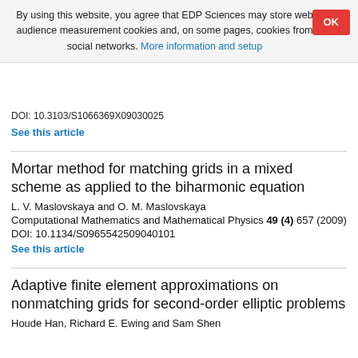By using this website, you agree that EDP Sciences may store web audience measurement cookies and, on some pages, cookies from social networks. More information and setup
DOI: 10.3103/S1066369X09030025
See this article
Mortar method for matching grids in a mixed scheme as applied to the biharmonic equation
L. V. Maslovskaya and O. M. Maslovskaya
Computational Mathematics and Mathematical Physics 49 (4) 657 (2009)
DOI: 10.1134/S0965542509040101
See this article
Adaptive finite element approximations on nonmatching grids for second-order elliptic problems
Houde Han, Richard E. Ewing and Sam Shen